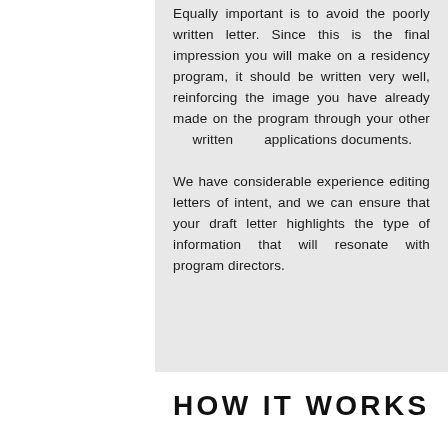Equally important is to avoid the poorly written letter. Since this is the final impression you will make on a residency program, it should be written very well, reinforcing the image you have already made on the program through your other written applications documents.
We have considerable experience editing letters of intent, and we can ensure that your draft letter highlights the type of information that will resonate with program directors.
HOW IT WORKS